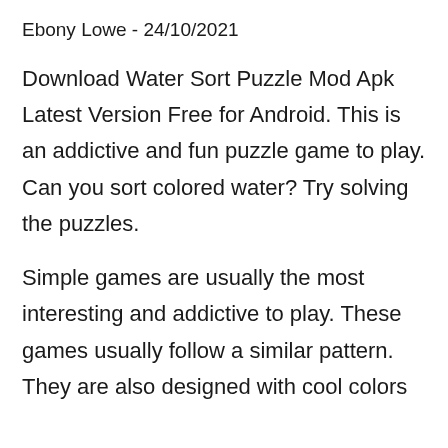Ebony Lowe - 24/10/2021
Download Water Sort Puzzle Mod Apk Latest Version Free for Android. This is an addictive and fun puzzle game to play. Can you sort colored water? Try solving the puzzles.
Simple games are usually the most interesting and addictive to play. These games usually follow a similar pattern. They are also designed with cool colors